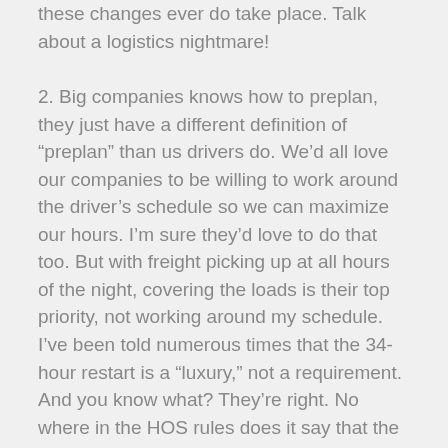these changes ever do take place. Talk about a logistics nightmare!
2. Big companies knows how to preplan, they just have a different definition of “preplan” than us drivers do. We’d all love our companies to be willing to work around the driver’s schedule so we can maximize our hours. I’m sure they’d love to do that too. But with freight picking up at all hours of the night, covering the loads is their top priority, not working around my schedule. I’ve been told numerous times that the 34-hour restart is a “luxury,” not a requirement. And you know what? They’re right. No where in the HOS rules does it say that the 34-hour rule is required. And until it does, I’m really struggling with what it’s purpose is. Clearly, my blog post shows that the 34-hour rule won’t be very effective come July. The only way they can insure that drivers get two solid “nights” of rest is to make it a mandatory rule. And let’s face it; I’m not sure the trucking industry or the drivers want more